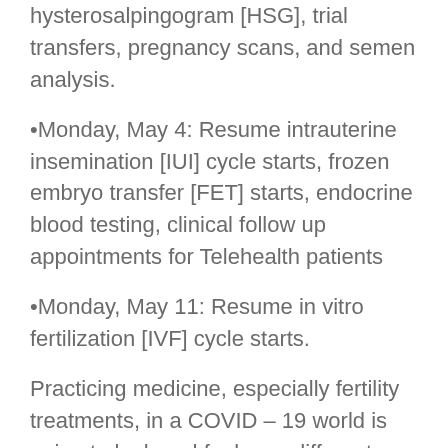hysterosalpingogram [HSG], trial transfers, pregnancy scans, and semen analysis.
Monday, May 4: Resume intrauterine insemination [IUI] cycle starts, frozen embryo transfer [FET] starts, endocrine blood testing, clinical follow up appointments for Telehealth patients
Monday, May 11: Resume in vitro fertilization [IVF] cycle starts.
Practicing medicine, especially fertility treatments, in a COVID – 19 world is going to look and feel very different than it did a month ago. There are a number of interventions we are implementing as part of our efforts to keep everyone safe.
Patient Visits